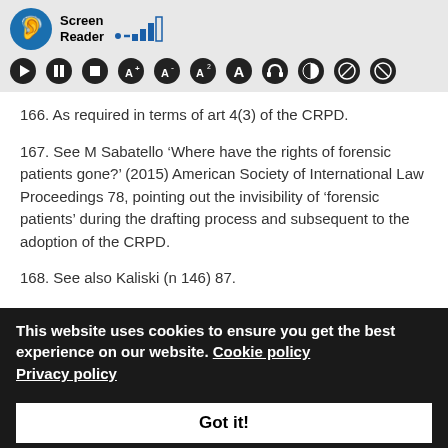[Figure (screenshot): Screen Reader toolbar with accessibility icon, signal bars icon, and a row of accessibility control buttons including play, pause, stop, font size controls, and display mode toggles]
166. As required in terms of art 4(3) of the CRPD.
167. See M Sabatello ‘Where have the rights of forensic patients gone?’ (2015) American Society of International Law Proceedings 78, pointing out the invisibility of ‘forensic patients’ during the drafting process and subsequent to the adoption of the CRPD.
168. See also Kaliski (n 146) 87.
This website uses cookies to ensure you get the best experience on our website. Cookie policy Privacy policy
Got it!